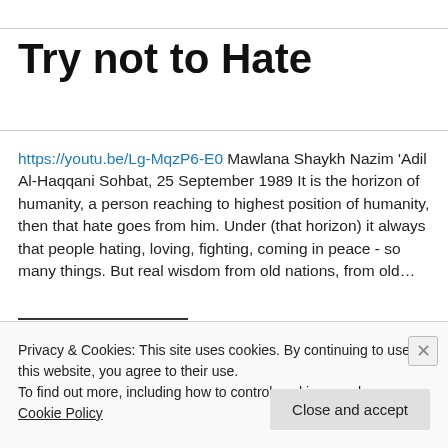Try not to Hate
https://youtu.be/Lg-MqzP6-E0 Mawlana Shaykh Nazim 'Adil Al-Haqqani Sohbat, 25 September 1989 It is the horizon of humanity, a person reaching to highest position of humanity, then that hate goes from him. Under (that horizon) it always that people hating, loving, fighting, coming in peace - so many things. But real wisdom from old nations, from old...
Privacy & Cookies: This site uses cookies. By continuing to use this website, you agree to their use.
To find out more, including how to control cookies, see here: Cookie Policy